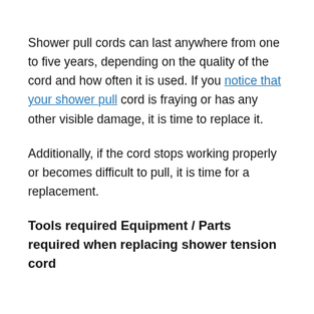Shower pull cords can last anywhere from one to five years, depending on the quality of the cord and how often it is used. If you notice that your shower pull cord is fraying or has any other visible damage, it is time to replace it.
Additionally, if the cord stops working properly or becomes difficult to pull, it is time for a replacement.
Tools required Equipment / Parts required when replacing shower tension cord